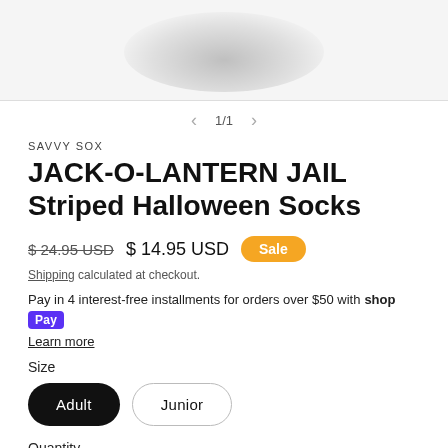[Figure (photo): Partial product image of Halloween socks with shadow visible at top of page]
1/1
SAVVY SOX
JACK-O-LANTERN JAIL Striped Halloween Socks
$ 24.95 USD  $ 14.95 USD  Sale
Shipping calculated at checkout.
Pay in 4 interest-free installments for orders over $50 with shop Pay
Learn more
Size
Adult  Junior
Quantity